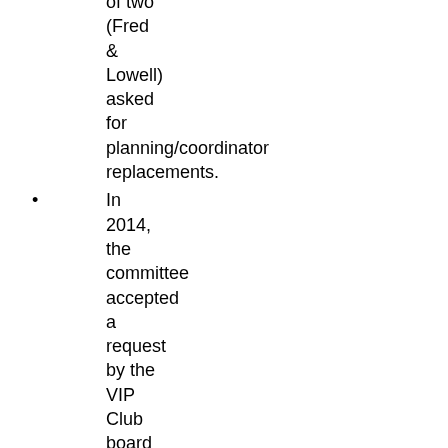of two (Fred & Lowell) asked for planning/coordinator replacements.
In 2014, the committee accepted a request by the VIP Club board to combine the Club's annual elections with the Unihogs/Uniturkeys program.
In 2016...